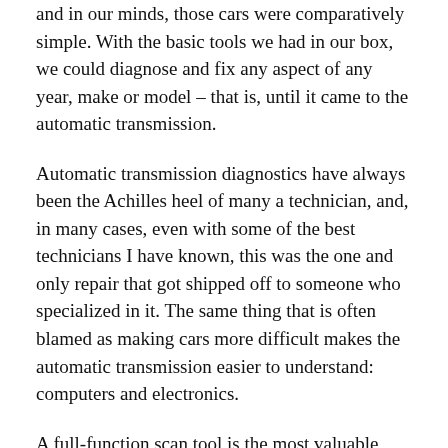and in our minds, those cars were comparatively simple. With the basic tools we had in our box, we could diagnose and fix any aspect of any year, make or model – that is, until it came to the automatic transmission.
Automatic transmission diagnostics have always been the Achilles heel of many a technician, and, in many cases, even with some of the best technicians I have known, this was the one and only repair that got shipped off to someone who specialized in it. The same thing that is often blamed as making cars more difficult makes the automatic transmission easier to understand: computers and electronics.
A full-function scan tool is the most valuable tool you can have and there is no exception when it comes to transmission diagnostics. We are used to the engine control module (ECM) telling us there is a problem and storing a trouble code, usually long before we notice